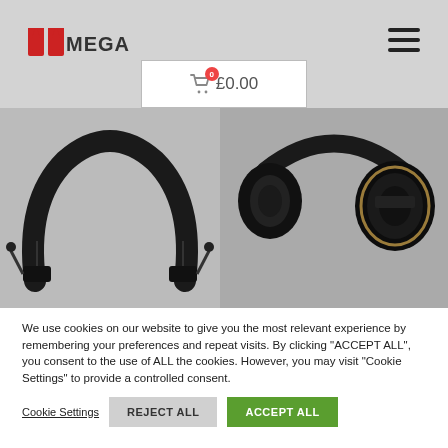[Figure (logo): MEGA brand logo with red double-M icon and bold MEGA text]
[Figure (screenshot): Hamburger menu icon (three horizontal lines) in top right corner]
[Figure (screenshot): Shopping cart button showing cart icon with red badge '0' and text '£0.00']
[Figure (photo): Two product photos: left shows neckband Bluetooth earphones/headset (black), right shows over-ear Bluetooth headphones (black with gold trim)]
We use cookies on our website to give you the most relevant experience by remembering your preferences and repeat visits. By clicking "ACCEPT ALL", you consent to the use of ALL the cookies. However, you may visit "Cookie Settings" to provide a controlled consent.
Cookie Settings   REJECT ALL   ACCEPT ALL